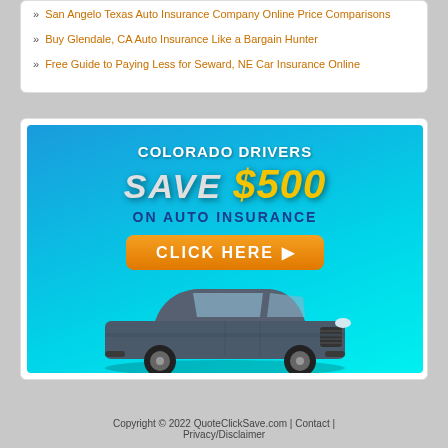San Angelo Texas Auto Insurance Company Online Price Comparisons
Buy Glendale, CA Auto Insurance Like a Bargain Hunter
Free Guide to Paying Less for Seward, NE Car Insurance Online
[Figure (infographic): Colorado Drivers Save $500 on Auto Insurance advertisement with blue gradient background, SUV car image, and orange Click Here button]
Copyright © 2022 QuoteClickSave.com | Contact | Privacy/Disclaimer